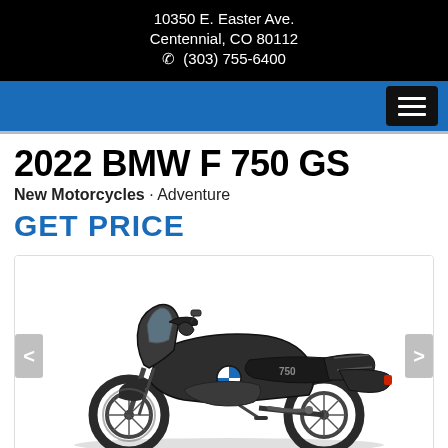10350 E. Easter Ave.
Centennial, CO 80112
(303) 755-6400
2022 BMW F 750 GS
New Motorcycles · Adventure
GET PRICE
[Figure (photo): 2022 BMW F 750 GS motorcycle in dark/black color, side profile view, shown in a slideshow carousel with left and right navigation arrows]